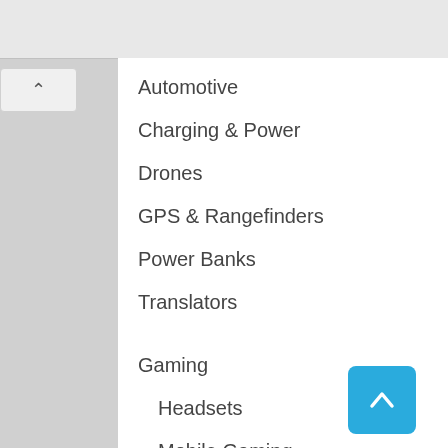Automotive
Charging & Power
Drones
GPS & Rangefinders
Power Banks
Translators
Gaming
Headsets
Mobile Gaming
Nintendo
PC Gaming
Playstation & Xbox
Home